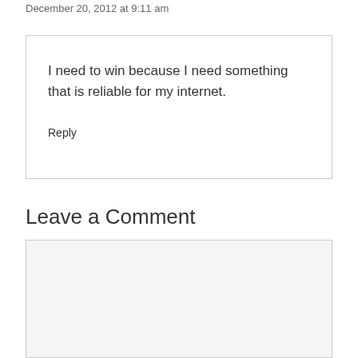December 20, 2012 at 9:11 am
I need to win because I need something that is reliable for my internet.
Reply
Leave a Comment